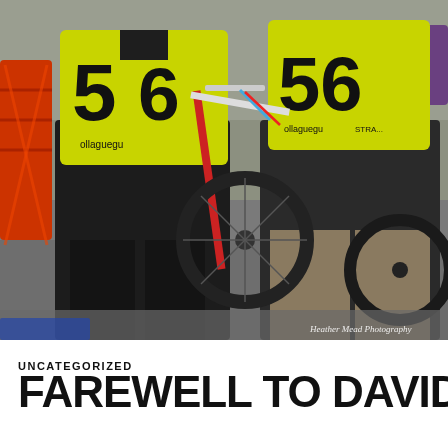[Figure (photo): Two people standing outdoors wearing bright yellow/green numbered marshal vests (numbers 56 and 56) over dark clothing, with motorcycles visible in the background. An orange barrier is on the left. Watermark reads 'Heather Mead Photography' in bottom right corner.]
UNCATEGORIZED
FAREWELL TO DAVID